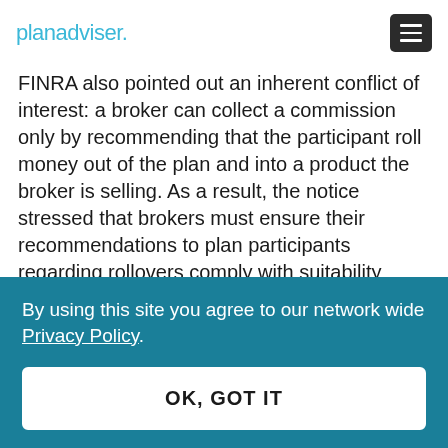planadviser.
FINRA also pointed out an inherent conflict of interest: a broker can collect a commission only by recommending that the participant roll money out of the plan and into a product the broker is selling. As a result, the notice stressed that brokers must ensure their recommendations to plan participants regarding rollovers comply with suitability
By using this site you agree to our network wide Privacy Policy.
OK, GOT IT